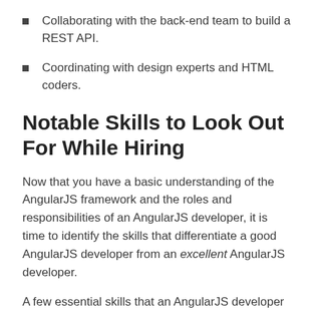Collaborating with the back-end team to build a REST API.
Coordinating with design experts and HTML coders.
Notable Skills to Look Out For While Hiring
Now that you have a basic understanding of the AngularJS framework and the roles and responsibilities of an AngularJS developer, it is time to identify the skills that differentiate a good AngularJS developer from an excellent AngularJS developer.
A few essential skills that an AngularJS developer must possess includes: